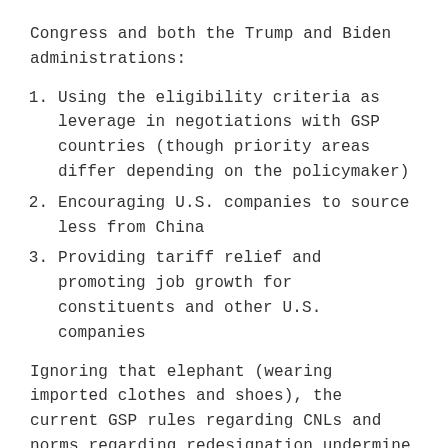Congress and both the Trump and Biden administrations:
Using the eligibility criteria as leverage in negotiations with GSP countries (though priority areas differ depending on the policymaker)
Encouraging U.S. companies to source less from China
Providing tariff relief and promoting job growth for constituents and other U.S. companies
Ignoring that elephant (wearing imported clothes and shoes), the current GSP rules regarding CNLs and norms regarding redesignation undermine all of these priorities.
As it relates to leverage in bilateral talks, it doesn't matter if the goal is better market access or improved